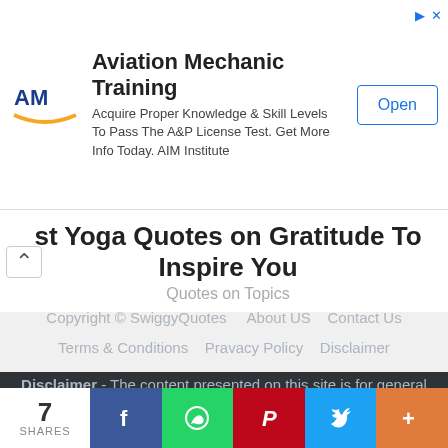[Figure (other): Advertisement banner for Aviation Mechanic Training by AIM Institute with logo, text, and Open button]
st Yoga Quotes on Gratitude To Inspire You
Quotes on Topics
Copyright © SwiggyQuotes   About US   Contact Us
Terms & Conditions   Pravacy Policy   Disclaimer

Disclaimer - The content presented on this site is for general information purposes only. Kindly contact us with respective evidence if any change or modification is required to the existed content.
[Figure (other): Social share bar showing 7 SHARES, Facebook, WhatsApp, Pinterest, Twitter, and More buttons]